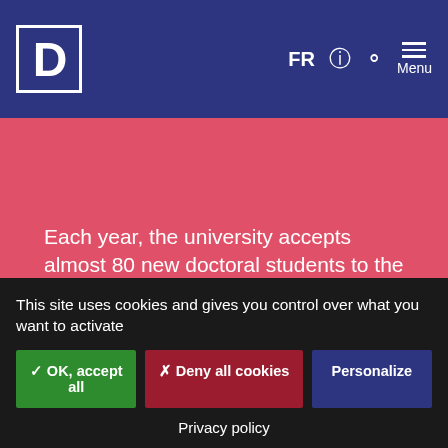D | FR [accessibility] [search] Menu
Each year, the university accepts almost 80 new doctoral students to the SDOSE (Sciences of Decision-Making, Organizations, Society, and Exchange) Doctoral School. The school offers seven PhD and Graduate programs and maintains close ties with the research centers and laboratories at Dauphine - PSL. Shared by Université Paris Dauphine-PSL and MINES
This site uses cookies and gives you control over what you want to activate
✓ OK, accept all
✗ Deny all cookies
Personalize
Privacy policy